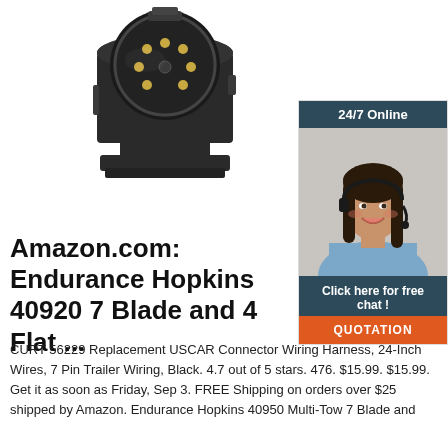[Figure (photo): Black plastic 7-pin to 4-pin trailer connector adapter seen from a front-angle view, showing gold-colored pins arranged in a circular pattern]
[Figure (photo): Customer service representative woman smiling, wearing a headset, with a '24/7 Online' header above and 'Click here for free chat!' and 'QUOTATION' button below]
Amazon.com: Endurance Hopkins 40920 7 Blade and 4 Flat ...
CURT 56229 Replacement USCAR Connector Wiring Harness, 24-Inch Wires, 7 Pin Trailer Wiring, Black. 4.7 out of 5 stars. 476. $15.99. $15.99. Get it as soon as Friday, Sep 3. FREE Shipping on orders over $25 shipped by Amazon. Endurance Hopkins 40950 Multi-Tow 7 Blade and